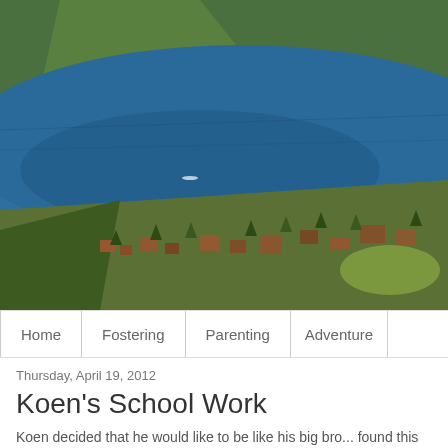[Figure (photo): Aerial photograph of a lake surrounded by forested mountains, with a small town or settlement visible along the shoreline at the bottom. Deep blue water dominates the center of the image.]
Home | Fostering | Parenting | Adventure
Thursday, April 19, 2012
Koen's School Work
Koen decided that he would like to be like his big bro... found this one which teaches how to write letters. Koe...